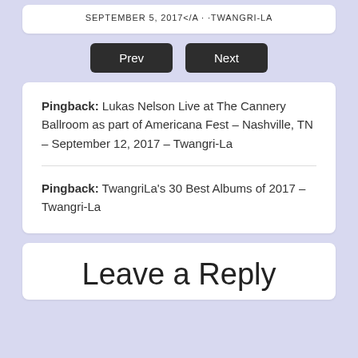SEPTEMBER 5, 2017</A · ·TWANGRI-LA
Prev  Next
Pingback: Lukas Nelson Live at The Cannery Ballroom as part of Americana Fest – Nashville, TN – September 12, 2017 – Twangri-La
Pingback: TwangriLa's 30 Best Albums of 2017 – Twangri-La
Leave a Reply